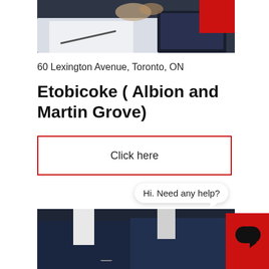[Figure (photo): Photo of a person's hands at a desk with paper, pen, and laptop in background; red square accent in top-right corner]
60 Lexington Avenue, Toronto, ON
Etobicoke ( Albion and Martin Grove)
Click here
Hi. Need any help?
[Figure (photo): Photo of two men in business suits; red square with chat icon in bottom-right corner]